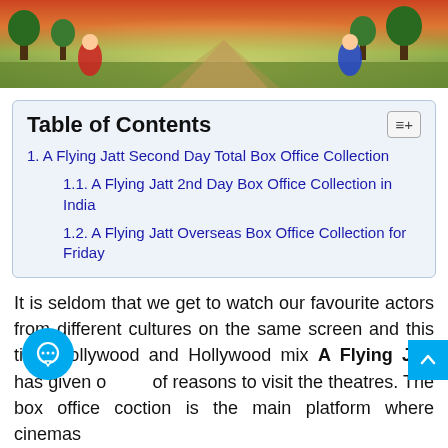[Figure (photo): Banner image showing a movie scene with characters in a colorful outdoor setting with red and green tones]
Table of Contents
1. A Flying Jatt Second Day Total Box Office Collection
1.1. A Flying Jatt 2nd Day Box Office Collection in India
1.2. A Flying Jatt Overseas Box Office Collection for Friday
It is seldom that we get to watch our favourite actors from different cultures on the same screen and this time Bollywood and Hollywood mix A Flying Jatt has given of reasons to visit the theatres. The box office collection is the main platform where cinemas